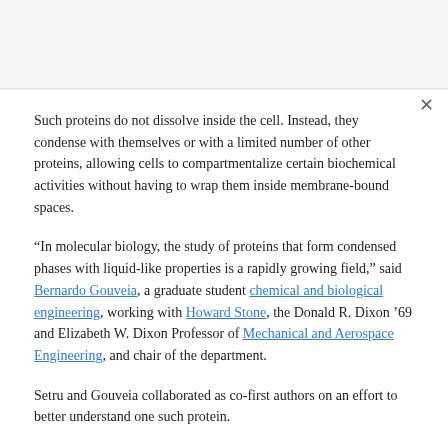Such proteins do not dissolve inside the cell. Instead, they condense with themselves or with a limited number of other proteins, allowing cells to compartmentalize certain biochemical activities without having to wrap them inside membrane-bound spaces.
“In molecular biology, the study of proteins that form condensed phases with liquid-like properties is a rapidly growing field,” said Bernardo Gouveia, a graduate student chemical and biological engineering, working with Howard Stone, the Donald R. Dixon ’69 and Elizabeth W. Dixon Professor of Mechanical and Aerospace Engineering, and chair of the department.
Setru and Gouveia collaborated as co-first authors on an effort to better understand one such protein.
“More can be read about the behavior of the …